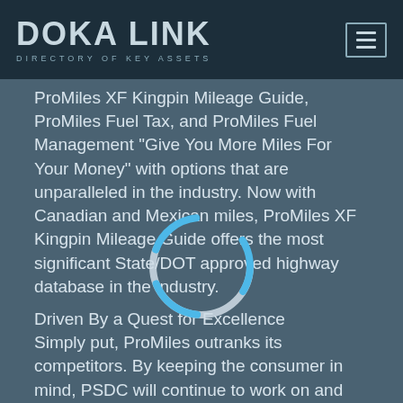DOKA LINK — DIRECTORY OF KEY ASSETS
ProMiles XF Kingpin Mileage Guide, ProMiles Fuel Tax, and ProMiles Fuel Management "Give You More Miles For Your Money" with options that are unparalleled in the industry. Now with Canadian and Mexican miles, ProMiles XF Kingpin Mileage Guide offers the most significant State/DOT approved highway database in the industry.
Driven By a Quest for Excellence
Simply put, ProMiles outranks its competitors. By keeping the consumer in mind, PSDC will continue to work on and add data to their programs. As always, we welcome any suggestions that could make our systems better. PSDC will always consider the recommendations of customers in future upgrades. We feel that this commitment will keep us and our customers ahead of the